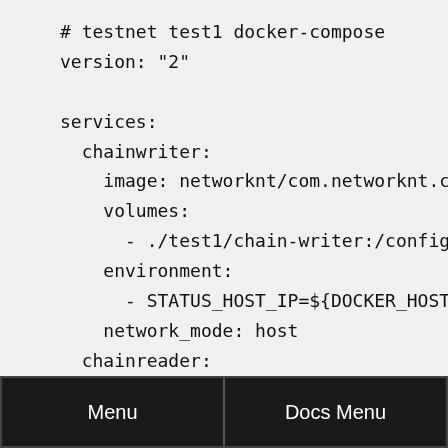# testnet test1 docker-compose
version: "2"

services:
  chainwriter:
    image: networknt/com.networknt.chainwri
    volumes:
      - ./test1/chain-writer:/config
    environment:
      - STATUS_HOST_IP=${DOCKER_HOST_IP}
    network_mode: host
  chainreader:
    image: networknt/com.networknt.chainrea
    volumes:
      - ./test1/chain-reader:/config
Menu    Docs Menu